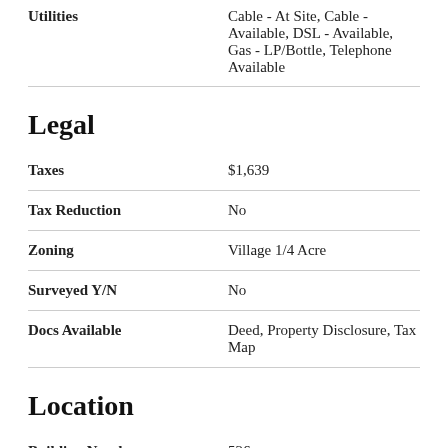| Field | Value |
| --- | --- |
| Utilities | Cable - At Site, Cable - Available, DSL - Available, Gas - LP/Bottle, Telephone Available |
Legal
| Field | Value |
| --- | --- |
| Taxes | $1,639 |
| Tax Reduction | No |
| Zoning | Village 1/4 Acre |
| Surveyed Y/N | No |
| Docs Available | Deed, Property Disclosure, Tax Map |
Location
| Field | Value |
| --- | --- |
| Building Number | 526 |